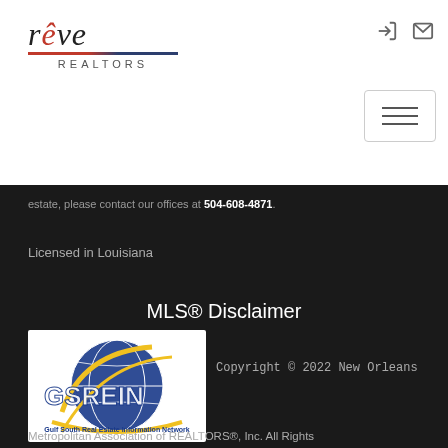[Figure (logo): Reve Realtors logo with stylized italic text and red/blue underline]
estate, please contact our offices at 504-608-4871.
Licensed in Louisiana
MLS® Disclaimer
[Figure (logo): GSREIN - Gulf South Real Estate Information Network globe logo]
Copyright © 2022 New Orleans
Metropolitan Association of REALTORS®, Inc. All Rights